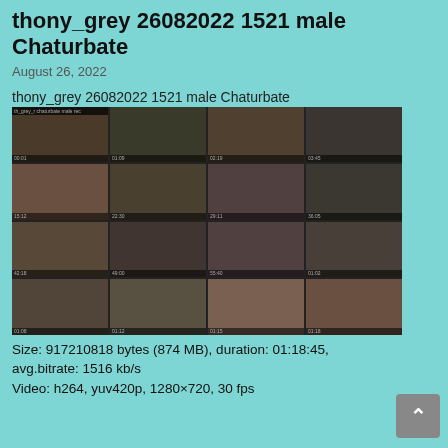thony_grey 26082022 1521 male Chaturbate
August 26, 2022
thony_grey 26082022 1521 male Chaturbate
[Figure (photo): Video thumbnail grid showing 16 frames from a webcam recording, arranged in a 4x4 grid]
Size: 917210818 bytes (874 MB), duration: 01:18:45, avg.bitrate: 1516 kb/s
Video: h264, yuv420p, 1280×720, 30 fps